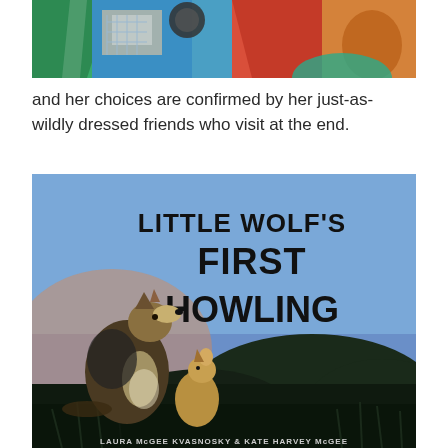[Figure (illustration): Top portion of a colorful illustrated book cover showing abstract/geometric figures in green, blue, red, and orange tones]
and her choices are confirmed by her just-as-wildly dressed friends who visit at the end.
[Figure (illustration): Book cover of 'Little Wolf's First Howling' showing a large adult wolf and a small wolf pup howling against a blue sky with dark hills and grass, text reading LITTLE WOLF'S FIRST HOWLING, authored by Laura McGee Kvasnosky & Kate Harvey McGee]